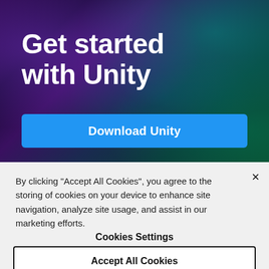[Figure (screenshot): Hero banner with dark galaxy/space textured background in purple and teal tones]
Get started with Unity
Download Unity
By clicking “Accept All Cookies”, you agree to the storing of cookies on your device to enhance site navigation, analyze site usage, and assist in our marketing efforts.
Cookies Settings
Accept All Cookies